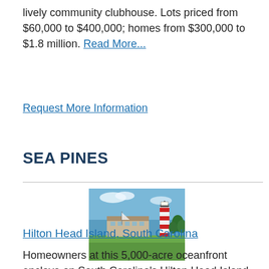lively community clubhouse. Lots priced from $60,000 to $400,000; homes from $300,000 to $1.8 million. Read More...
Request More Information
SEA PINES
[Figure (photo): Lighthouse at Harbour Town, Hilton Head Island, South Carolina — a red-and-white striped lighthouse with a marina and green lawn in the foreground under a blue sky]
Hilton Head Island, South Carolina
Homeowners at this 5,000-acre oceanfront enclave on South Carolina's Hilton Head Island have access to four